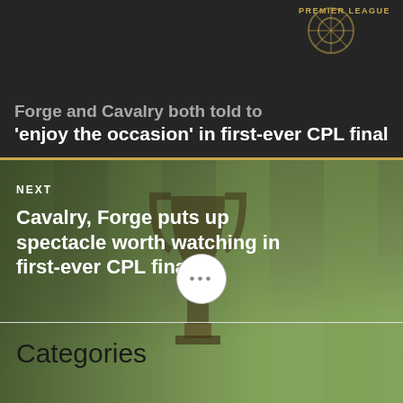[Figure (screenshot): Dark card showing partial headline text about Forge and Cavalry enjoying the occasion in first-ever CPL final, with Premier League logo overlay]
'enjoy the occasion' in first-ever CPL final
[Figure (photo): Photo of a soccer field with a trophy stand, showing CPL final setting. Overlaid with NEXT label and headline.]
NEXT
Cavalry, Forge puts up spectacle worth watching in first-ever CPL final
•••
Categories